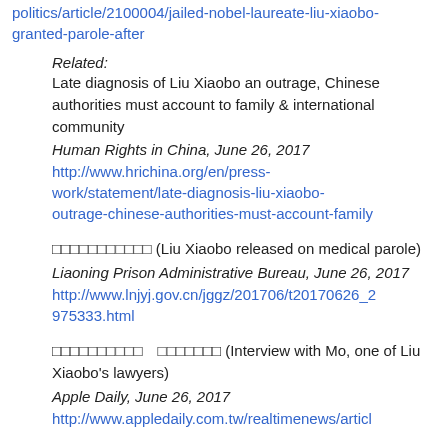politics/article/2100004/jailed-nobel-laureate-liu-xiaobo-granted-parole-after
Related:
Late diagnosis of Liu Xiaobo an outrage, Chinese authorities must account to family & international community
Human Rights in China, June 26, 2017
http://www.hrichina.org/en/press-work/statement/late-diagnosis-liu-xiaobo-outrage-chinese-authorities-must-account-family
□□□□□□□□□□□ (Liu Xiaobo released on medical parole)
Liaoning Prison Administrative Bureau, June 26, 2017
http://www.lnjyj.gov.cn/jggz/201706/t20170626_2975333.html
□□□□□□□□□□　□□□□□□□ (Interview with Mo, one of Liu Xiaobo's lawyers)
Apple Daily, June 26, 2017
http://www.appledaily.com.tw/realtimenews/articl